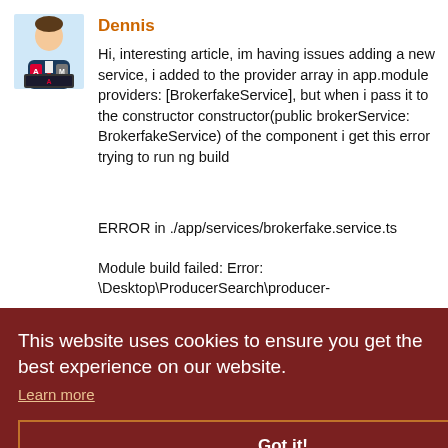[Figure (illustration): Avatar of user 'Dennis': cartoon person in suit sitting at a laptop with Angular logo on screen]
Dennis
Hi, interesting article, im having issues adding a new service, i added to the provider array in app.module providers: [BrokerfakeService], but when i pass it to the constructor constructor(public brokerService: BrokerfakeService) of the component i get this error trying to run ng build
ERROR in ./app/services/brokerfake.service.ts
Module build failed: Error: \Desktop\ProducerSearch\producer-
This website uses cookies to ensure you get the best experience on our website.
Learn more
Got it!